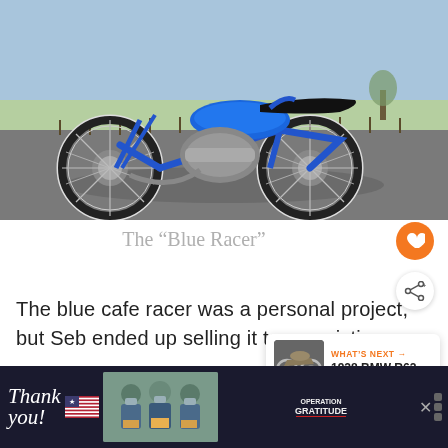[Figure (photo): A custom blue cafe racer motorcycle (BMW-based) parked on a paved road with a vineyard and sky in the background. The motorcycle has a blue frame, chrome spoked wheels, and a black seat.]
The “Blue Racer”
The blue cafe racer was a personal project, but Seb ended up selling it to an existing
[Figure (infographic): WHAT'S NEXT popup card showing a thumbnail of a vintage motorcycle and the text '1928 BMW R62']
[Figure (infographic): Advertisement banner at the bottom: 'Thank you!' handwritten text with US flag, photo of three masked people holding boxes, Operation Gratitude logo, close button and app icon on right]